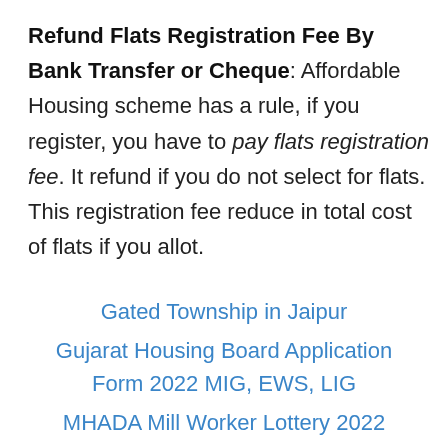Refund Flats Registration Fee By Bank Transfer or Cheque: Affordable Housing scheme has a rule, if you register, you have to pay flats registration fee. It refund if you do not select for flats. This registration fee reduce in total cost of flats if you allot.
Gated Township in Jaipur
Gujarat Housing Board Application Form 2022 MIG, EWS, LIG
MHADA Mill Worker Lottery 2022